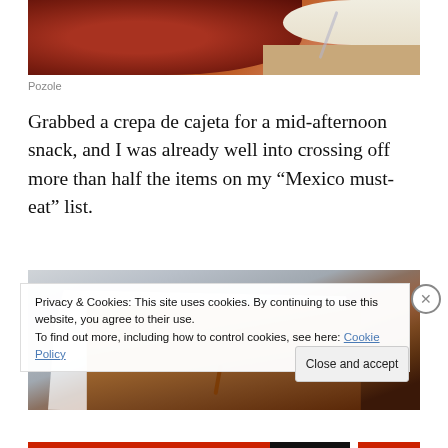[Figure (photo): Top portion of a food photo showing a bowl of pozole (red Mexican soup) with a white plate/bowl visible on the right side and a wooden table surface]
Pozole
Grabbed a crepa de cajeta for a mid-afternoon snack, and I was already well into crossing off more than half the items on my “Mexico must-eat” list.
[Figure (photo): Photo of a crepa de cajeta (Mexican crepe with caramel sauce) wrapped in paper, partially visible, on a stone or concrete surface]
Privacy & Cookies: This site uses cookies. By continuing to use this website, you agree to their use.
To find out more, including how to control cookies, see here: Cookie Policy
Close and accept